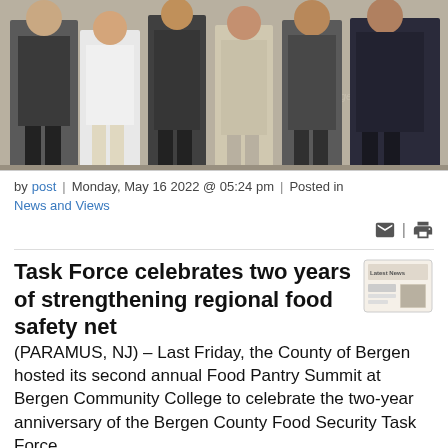[Figure (photo): Group photo of several people standing in front of a step-and-repeat banner with Bergen County logos, taken at the Bergen County Food Pantry Summit event.]
by post | Monday, May 16 2022 @ 05:24 pm | Posted in News and Views
Task Force celebrates two years of strengthening regional food safety net
(PARAMUS, NJ) – Last Friday, the County of Bergen hosted its second annual Food Pantry Summit at Bergen Community College to celebrate the two-year anniversary of the Bergen County Food Security Task Force.
The event brought together over 150 pantry directors, social service providers, and volunteers from across the county to share ideas, discuss challenges, and learn about the important services offered by county departments and